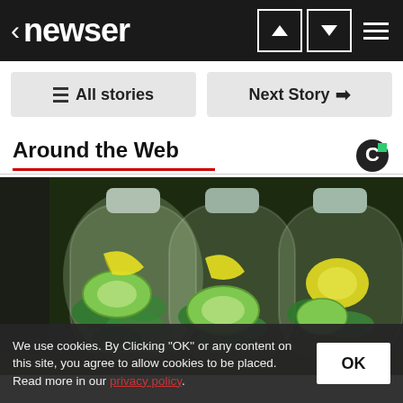< newser
All stories
Next Story →
Around the Web
[Figure (photo): Three large plastic water bottles filled with cucumber slices, lemon wedges, and green mint leaves, arranged side by side on a kitchen counter.]
We use cookies. By Clicking "OK" or any content on this site, you agree to allow cookies to be placed. Read more in our privacy policy.